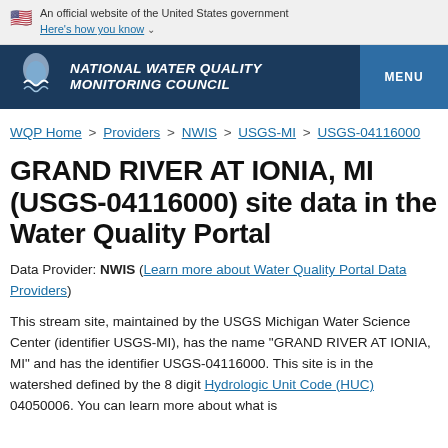An official website of the United States government Here's how you know
NATIONAL WATER QUALITY MONITORING COUNCIL MENU
WQP Home > Providers > NWIS > USGS-MI > USGS-04116000
GRAND RIVER AT IONIA, MI (USGS-04116000) site data in the Water Quality Portal
Data Provider: NWIS (Learn more about Water Quality Portal Data Providers)
This stream site, maintained by the USGS Michigan Water Science Center (identifier USGS-MI), has the name "GRAND RIVER AT IONIA, MI" and has the identifier USGS-04116000. This site is in the watershed defined by the 8 digit Hydrologic Unit Code (HUC) 04050006. You can learn more about what is